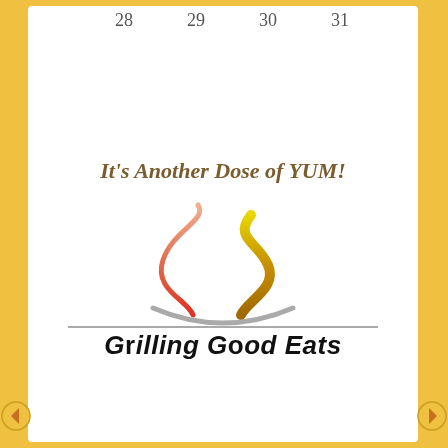28   29   30   31
It's Another Dose of YUM!
[Figure (logo): Grilling Good Eats logo: two stylized steam wisps (one salmon/red gradient, one yellow/gold gradient) rising above a gray curved bowl line]
Grilling Good Eats